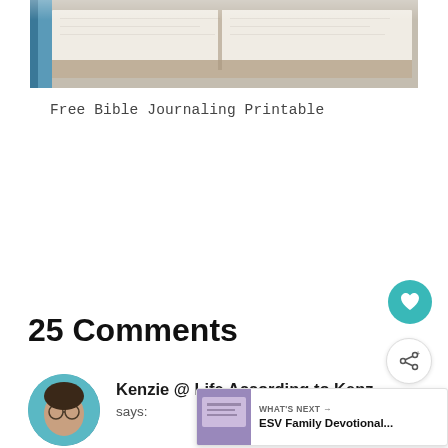[Figure (photo): Cropped photo of an open Bible with pages and spine visible from above, blurred/soft focus]
Free Bible Journaling Printable
25 Comments
Kenzie @ Life According to Kenz says: